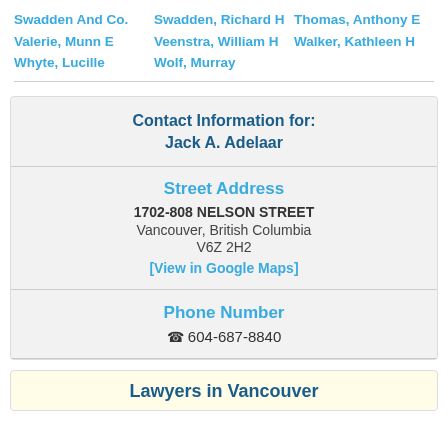Swadden And Co.
Valerie, Munn E
Whyte, Lucille
Swadden, Richard H
Veenstra, William H
Wolf, Murray
Thomas, Anthony E
Walker, Kathleen H
Contact Information for: Jack A. Adelaar
Street Address
1702-808 NELSON STREET
Vancouver, British Columbia
V6Z 2H2
[View in Google Maps]
Phone Number
604-687-8840
Lawyers in Vancouver